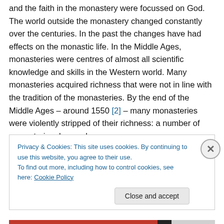every year, everyone's life, the life within the monastery and the faith in the monastery were focussed on God. The world outside the monastery changed constantly over the centuries. In the past the changes have had effects on the monastic life. In the Middle Ages, monasteries were centres of almost all scientific knowledge and skills in the Western world. Many monasteries acquired richness that were not in line with the tradition of the monasteries. By the end of the Middle Ages – around 1550 [2] – many monasteries were violently stripped of their richness: a number of monasteries decayed.
Privacy & Cookies: This site uses cookies. By continuing to use this website, you agree to their use.
To find out more, including how to control cookies, see here: Cookie Policy